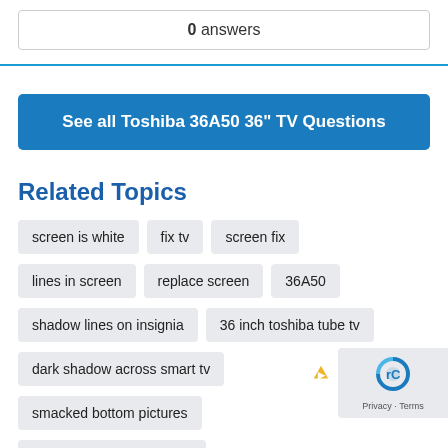0 answers
See all Toshiba 36A50 36" TV Questions
Related Topics
screen is white
fix tv
screen fix
lines in screen
replace screen
36A50
shadow lines on insignia
36 inch toshiba tube tv
dark shadow across smart tv
smacked bottom pictures
rid vertical lines toshiba tv